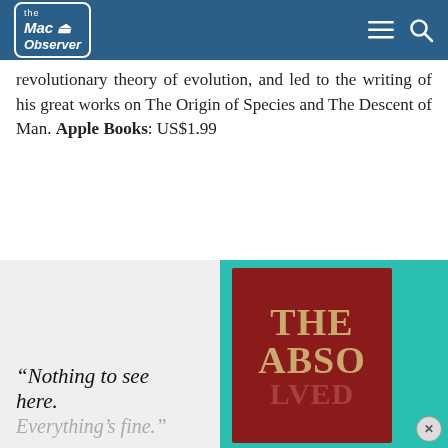the Mac Observer (navigation header with logo, menu, and search icons)
revolutionary theory of evolution, and led to the writing of his great works on The Origin of Species and The Descent of Man. Apple Books: US$1.99
[Figure (illustration): Advertisement banner: left side light grey background with italic quote text 'Nothing to see here. Everything’s fine.' Right side teal/green background showing a book cover for 'THE ABSOLVED' in dark red with gold lettering. Close (X) button in bottom right corner.]